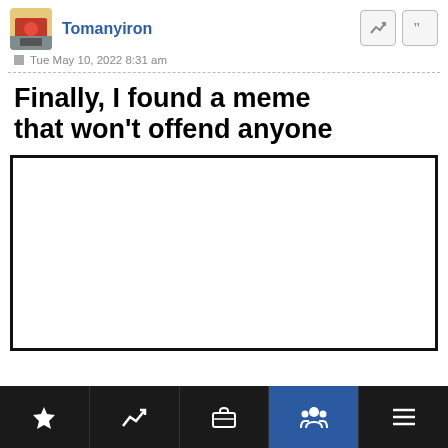Tomanyiron
Tue May 10, 2022 8:31 am
[Figure (illustration): Meme image showing text 'Finally, I found a meme that won't offend anyone' above a blank white rectangle with black border]
Bottom navigation bar with trophy, chart, briefcase, people (active), and menu icons